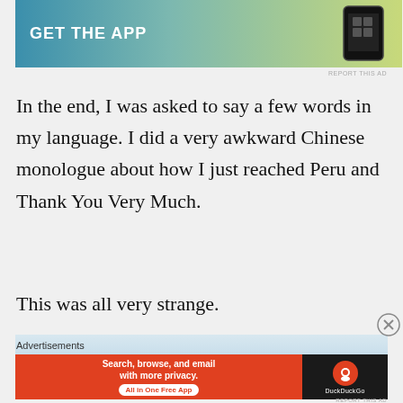[Figure (other): Top advertisement banner with teal-to-yellow gradient, 'GET THE APP' text in white bold letters, and phone mockup on the right]
In the end, I was asked to say a few words in my language. I did a very awkward Chinese monologue about how I just reached Peru and Thank You Very Much.
This was all very strange.
[Figure (photo): Photo of the top of a bus against a light blue sky]
Advertisements
[Figure (other): DuckDuckGo advertisement: orange background with 'Search, browse, and email with more privacy. All in One Free App' and DuckDuckGo logo on dark background]